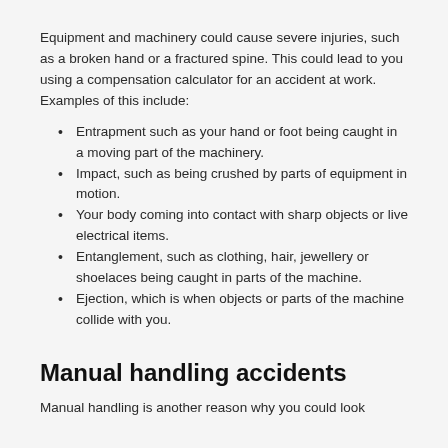Equipment and machinery could cause severe injuries, such as a broken hand or a fractured spine. This could lead to you using a compensation calculator for an accident at work. Examples of this include:
Entrapment such as your hand or foot being caught in a moving part of the machinery.
Impact, such as being crushed by parts of equipment in motion.
Your body coming into contact with sharp objects or live electrical items.
Entanglement, such as clothing, hair, jewellery or shoelaces being caught in parts of the machine.
Ejection, which is when objects or parts of the machine collide with you.
Manual handling accidents
Manual handling is another reason why you could look